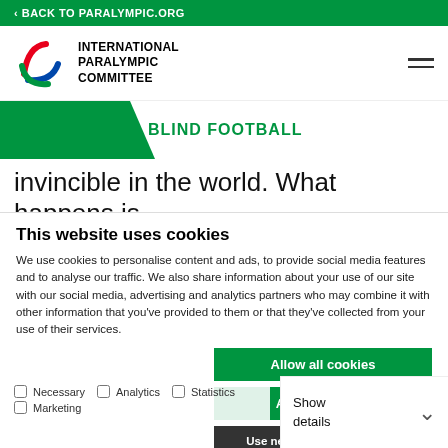< BACK TO PARALYMPIC.ORG
[Figure (logo): International Paralympic Committee logo with Agitos symbol (red, blue, green curved shapes) and text INTERNATIONAL PARALYMPIC COMMITTEE]
BLIND FOOTBALL
invincible in the world. What happens is
This website uses cookies
We use cookies to personalise content and ads, to provide social media features and to analyse our traffic. We also share information about your use of our site with our social media, advertising and analytics partners who may combine it with other information that you've provided to them or that they've collected from your use of their services.
Allow all cookies
Allow selection
Use necessary cookies only
Work well done, dedication, humi
natural talent and always going fo